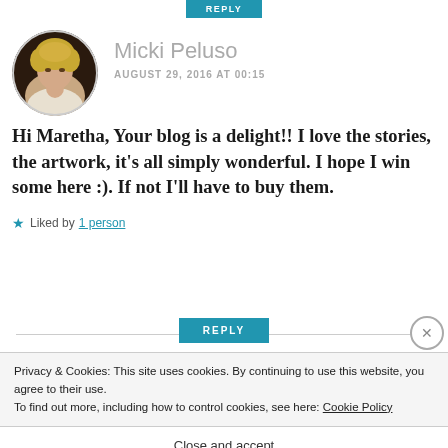[Figure (photo): Circular avatar photo of Micki Peluso, a woman with curly blonde hair wearing a white blazer]
Micki Peluso
AUGUST 29, 2016 AT 00:15
Hi Maretha, Your blog is a delight!! I love the stories, the artwork, it's all simply wonderful. I hope I win some here :). If not I'll have to buy them.
★ Liked by 1 person
REPLY
Privacy & Cookies: This site uses cookies. By continuing to use this website, you agree to their use.
To find out more, including how to control cookies, see here: Cookie Policy
Close and accept